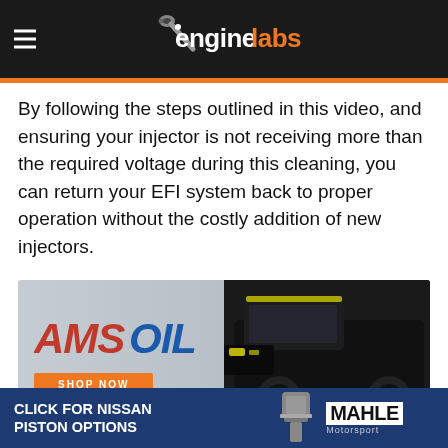[Figure (logo): EngineLabs website header with hamburger menu icon and EngineLabs logo on dark background]
By following the steps outlined in this video, and ensuring your injector is not receiving more than the required voltage during this cleaning, you can return your EFI system back to proper operation without the costly addition of new injectors.
[Figure (photo): AMSOIL advertisement banner showing the AMSOIL logo and a black truck with a SHOP NOW button]
0 Comments   Sort by Newest
[Figure (other): Bottom advertisement banner: CLICK FOR NISSAN PISTON OPTIONS with MAHLE Motorsport logo]